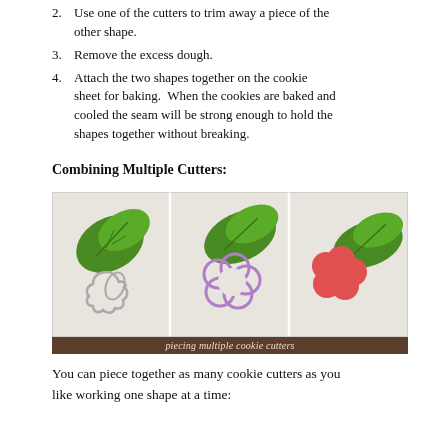2. Use one of the cutters to trim away a piece of the other shape.
3. Remove the excess dough.
4. Attach the two shapes together on the cookie sheet for baking.  When the cookies are baked and cooled the seam will be strong enough to hold the shapes together without breaking.
Combining Multiple Cutters:
[Figure (photo): Three-panel photo showing steps of piecing multiple cookie cutters together: left panel shows green leaf-shaped cookie dough with a metal cutter, middle panel shows leaf dough with a purple flower-shaped cutter placed on it, right panel shows the finished pieced cookie with red flower shape and green leaves.]
piecing multiple cookie cutters
You can piece together as many cookie cutters as you like working one shape at a time: